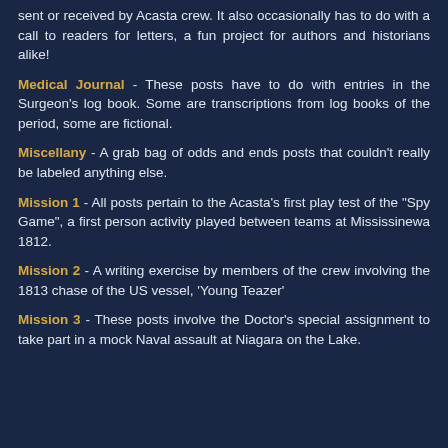sent or received by Acasta crew. It also occasionally has to do with a call to readers for letters, a fun project for authors and historians alike!
Medical Journal - These posts have to do with entries in the Surgeon's log book. Some are transcriptions from log books of the period, some are fictional.
Miscellany - A grab bag of odds and ends posts that couldn't really be labeled anything else.
Mission 1 - All posts pertain to the Acasta's first play test of the "Spy Game", a first person activity played between teams at Mississinewa 1812.
Mission 2 - A writing exercise by members of the crew involving the 1813 chase of the US vessel, 'Young Teazer'
Mission 3 - These posts involve the Doctor's special assignment to take part in a mock Naval assault at Niagara on the Lake.